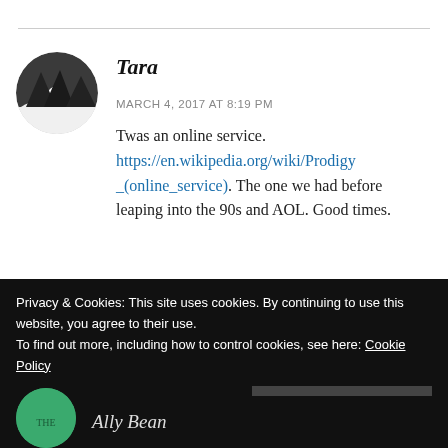Tara
MARCH 4, 2017 AT 8:19 PM
Twas an online service. https://en.wikipedia.org/wiki/Prodigy_(online_service). The one we had before leaping into the 90s and AOL. Good times.
Privacy & Cookies: This site uses cookies. By continuing to use this website, you agree to their use. To find out more, including how to control cookies, see here: Cookie Policy
Close and accept
Ally Bean